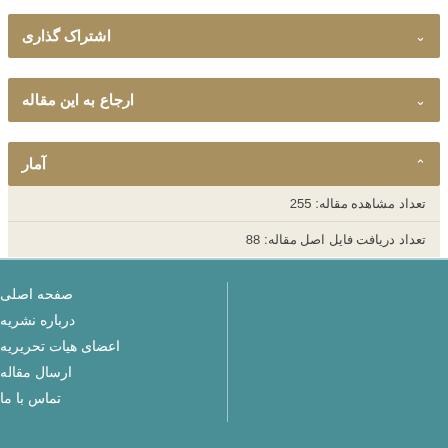اشتراک گذاری
ارجاع به این مقاله
آمار
تعداد مشاهده مقاله: 255
تعداد دریافت فایل اصل مقاله: 88
صفحه اصلی
درباره نشریه
اعضای هیات تحریریه
ارسال مقاله
تماس با ما